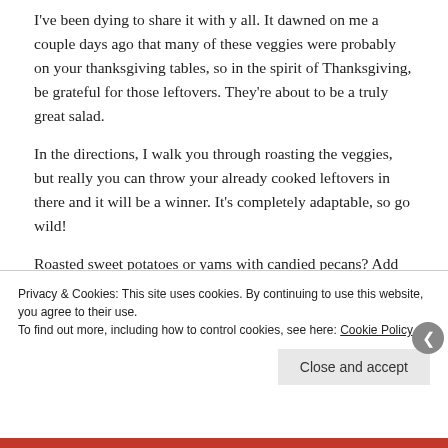I've been dying to share it with y all. It dawned on me a couple days ago that many of these veggies were probably on your thanksgiving tables, so in the spirit of Thanksgiving, be grateful for those leftovers. They're about to be a truly great salad.
In the directions, I walk you through roasting the veggies, but really you can throw your already cooked leftovers in there and it will be a winner. It's completely adaptable, so go wild!
Roasted sweet potatoes or yams with candied pecans? Add it.
The always present brussels that the kids wouldn't touch? Add them.
Cranberry sauce? Why not?
How are you using up your Thanksgiving leftovers?
Privacy & Cookies: This site uses cookies. By continuing to use this website, you agree to their use.
To find out more, including how to control cookies, see here: Cookie Policy
Close and accept